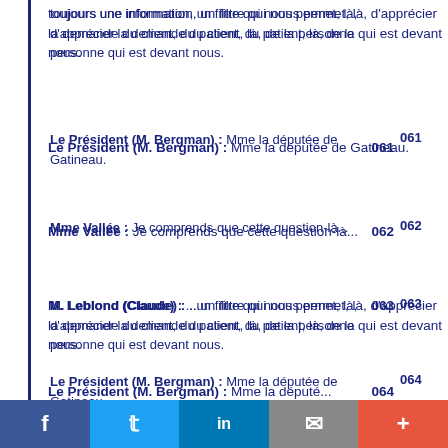toujours une information, un filtre qui nous permet, là, d'apprécier la demande du client, du patient, là, de la personne qui est devant nous.
Le Président (M. Bergman) : Mme la députée de Gatineau.  061
Mme Vallée : Je comprends que cette question-là...  062  Mme V
M. Leblond (Claude) : ...un filtre qui nous permet, là, d'apprécier la demande du client, du patient, là, de la personne qui est devant nous.  063  Mr. Leb assess t person
Le Président (M. Bergman) : Mme la députée de Gatineau.  064
Mme Vallée : Je comprends que cette question-là  065